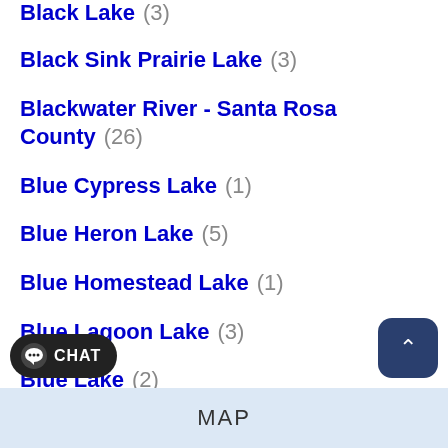Black Lake (3)
Black Sink Prairie Lake (3)
Blackwater River - Santa Rosa County (26)
Blue Cypress Lake (1)
Blue Heron Lake (5)
Blue Homestead Lake (1)
Blue Lagoon Lake (3)
Blue Lake (2)
Blue Lake - Lake County (1)
Blue Lake (3)
MAP